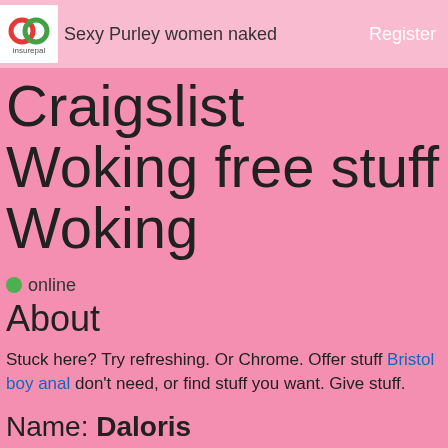Sexy Purley women naked   Register
Craigslist Woking free stuff Woking
online
About
Stuck here? Try refreshing. Or Chrome. Offer stuff Bristol boy anal don't need, or find stuff you want. Give stuff.
Name: Daloris
Age: 41